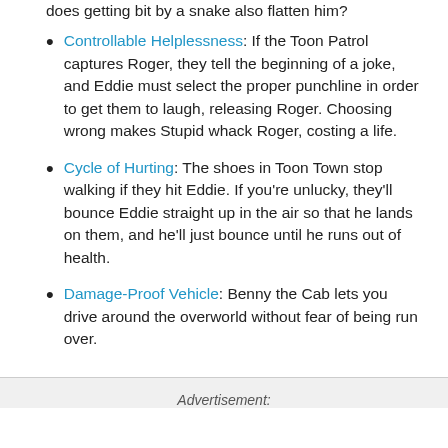does getting bit by a snake also flatten him?
Controllable Helplessness: If the Toon Patrol captures Roger, they tell the beginning of a joke, and Eddie must select the proper punchline in order to get them to laugh, releasing Roger. Choosing wrong makes Stupid whack Roger, costing a life.
Cycle of Hurting: The shoes in Toon Town stop walking if they hit Eddie. If you're unlucky, they'll bounce Eddie straight up in the air so that he lands on them, and he'll just bounce until he runs out of health.
Damage-Proof Vehicle: Benny the Cab lets you drive around the overworld without fear of being run over.
Advertisement: